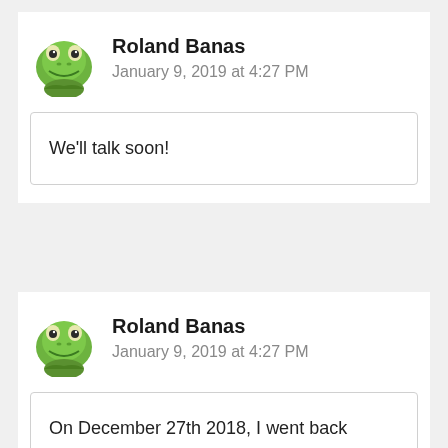[Figure (photo): Kermit the Frog avatar image for user Roland Banas]
Roland Banas
January 9, 2019 at 4:27 PM
We'll talk soon!
[Figure (photo): Kermit the Frog avatar image for user Roland Banas]
Roland Banas
January 9, 2019 at 4:27 PM
On December 27th 2018, I went back